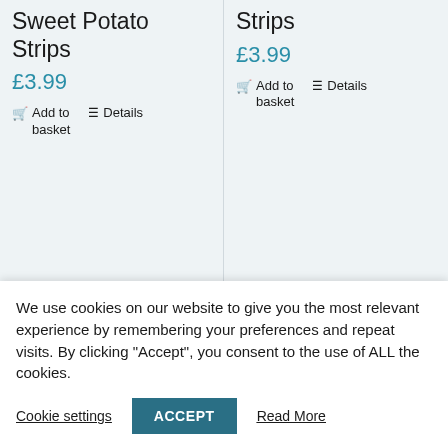Sweet Potato Strips
£3.99
Add to basket
Details
Strips
£3.99
Add to basket
Details
[Figure (photo): Pet Munchies product packaging - orange box with paw print]
[Figure (photo): Pet Munchies product packaging - orange/blue box with paw print]
We use cookies on our website to give you the most relevant experience by remembering your preferences and repeat visits. By clicking “Accept”, you consent to the use of ALL the cookies.
Cookie settings
ACCEPT
Read More